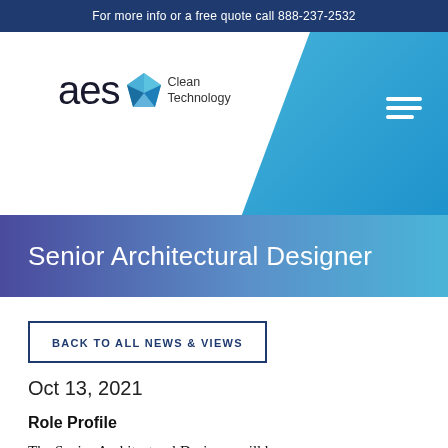For more info or a free quote call 888-237-2532
[Figure (logo): AES Clean Technology logo with blue diamond and 'Clean Technology' text, on white header with blue diagonal background and hamburger menu icon]
Senior Architectural Designer
BACK TO ALL NEWS & VIEWS
Oct 13, 2021
Role Profile
The Senior Architectural Designer will be responsible for the overall architectural design